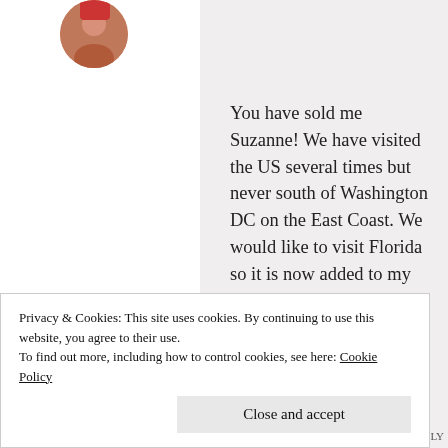[Figure (photo): Circular avatar photo of a person in red clothing, partially visible at top left]
You have sold me Suzanne! We have visited the US several times but never south of Washington DC on the East Coast. We would like to visit Florida so it is now added to my list! Thanks and have a great week!
Sue from Sizzling Towards 60 & Beyond
Privacy & Cookies: This site uses cookies. By continuing to use this website, you agree to their use.
To find out more, including how to control cookies, see here: Cookie Policy
Close and accept